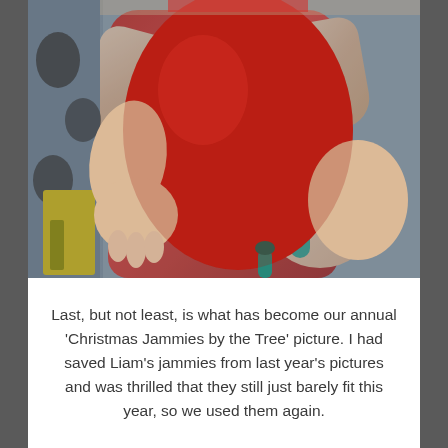[Figure (photo): Close-up photo of a chubby baby wearing a red onesie/Christmas jammies, seated in a car seat or chair with patterned fabric visible on the left side. The baby's arms and legs are visible, and a teal pacifier is visible at the bottom right.]
Last, but not least, is what has become our annual 'Christmas Jammies by the Tree' picture. I had saved Liam's jammies from last year's pictures and was thrilled that they still just barely fit this year, so we used them again.